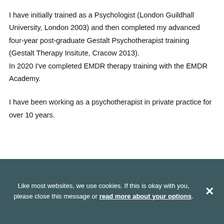I have initially trained as a Psychologist (London Guildhall University, London 2003) and then completed my advanced four-year post-graduate Gestalt Psychotherapist training (Gestalt Therapy Insitute, Cracow 2013). In 2020 I've completed EMDR therapy training with the EMDR Academy.
I have been working as a psychotherapist in private practice for over 10 years.
Like most websites, we use cookies. If this is okay with you, please close this message or read more about your options.